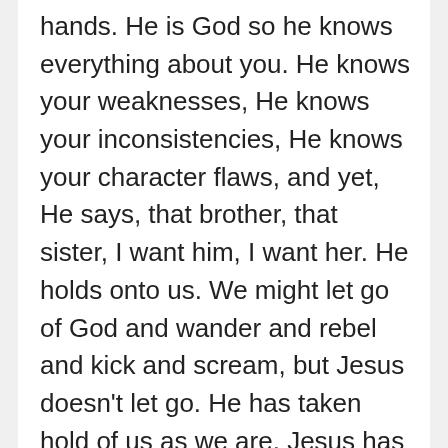hands. He is God so he knows everything about you. He knows your weaknesses, He knows your inconsistencies, He knows your character flaws, and yet, He says, that brother, that sister, I want him, I want her. He holds onto us. We might let go of God and wander and rebel and kick and scream, but Jesus doesn't let go. He has taken hold of us as we are. Jesus has taken hold of us and He won't let go until we reach our final salvation and cross the finished line. That's one side of salvation.

On our side, we know Jesus in part, we know who He is, His character, His love to some extent, but we are also missing the